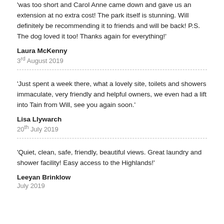'was too short and Carol Anne came down and gave us an extension at no extra cost! The park itself is stunning. Will definitely be recommending it to friends and will be back! P.S. The dog loved it too! Thanks again for everything!'
Laura McKenny
3rd August 2019
'Just spent a week there, what a lovely site, toilets and showers immaculate, very friendly and helpful owners, we even had a lift into Tain from Will, see you again soon.'
Lisa Llywarch
20th July 2019
'Quiet, clean, safe, friendly, beautiful views. Great laundry and shower facility! Easy access to the Highlands!'
Leeyan Brinklow
July 2019